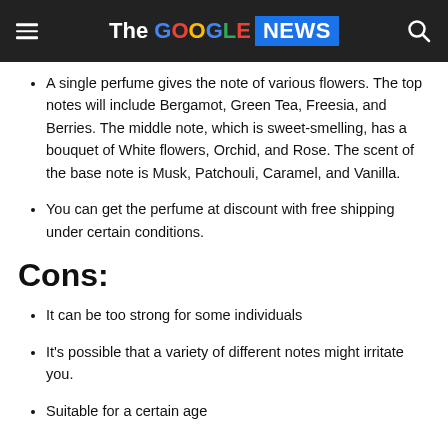The GOOGLE NEWS
A single perfume gives the note of various flowers. The top notes will include Bergamot, Green Tea, Freesia, and Berries. The middle note, which is sweet-smelling, has a bouquet of White flowers, Orchid, and Rose. The scent of the base note is Musk, Patchouli, Caramel, and Vanilla.
You can get the perfume at discount with free shipping under certain conditions.
Cons:
It can be too strong for some individuals
It's possible that a variety of different notes might irritate you.
Suitable for a certain age…